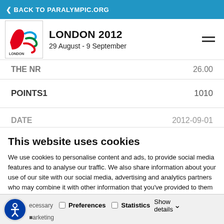< BACK TO PARALYMPIC.ORG
[Figure (logo): London 2012 Paralympic Games logo]
LONDON 2012
29 August - 9 September
| Field | Value |
| --- | --- |
| THE NR | 26.00 |
| POINTS1 | 1010 |
| DATE | 2012-09-01 |
This website uses cookies
We use cookies to personalise content and ads, to provide social media features and to analyse our traffic. We also share information about your use of our site with our social media, advertising and analytics partners who may combine it with other information that you've provided to them or that they've collected from your use of their services.
Allow all cookies
Allow selection
Use necessary cookies only
Necessary  Preferences  Statistics  Show details  Marketing